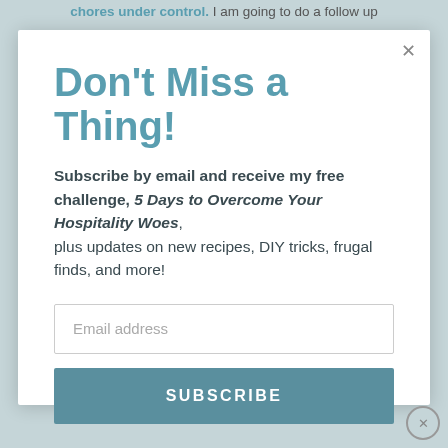chores under control. I am going to do a follow up
Don't Miss a Thing!
Subscribe by email and receive my free challenge, 5 Days to Overcome Your Hospitality Woes, plus updates on new recipes, DIY tricks, frugal finds, and more!
Email address
SUBSCRIBE